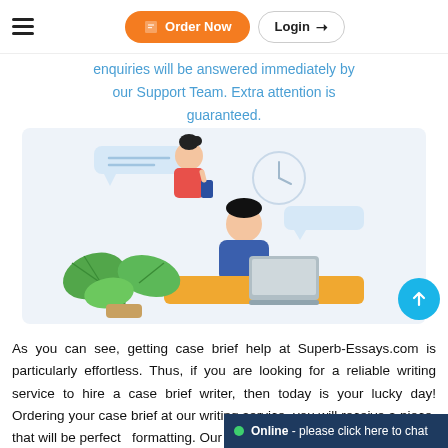Order Now | Login
enquiries will be answered immediately by our Support Team. Extra attention is guaranteed.
[Figure (illustration): Illustration of a person working at a desk with a laptop, a plant in the foreground, and a person above holding a phone with chat bubbles]
As you can see, getting case brief help at Superb-Essays.com is particularly effortless. Thus, if you are looking for a reliable writing service to hire a case brief writer, then today is your lucky day! Ordering your case brief at our writing service, you will receive a piece that will be perfect formatting. Our company has
Online - please click here to chat